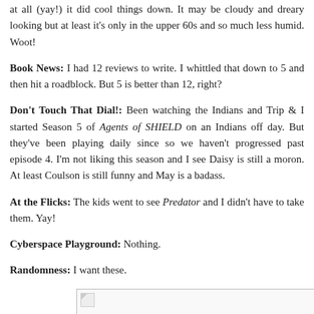at all (yay!) it did cool things down. It may be cloudy and dreary looking but at least it's only in the upper 60s and so much less humid. Woot!
Book News: I had 12 reviews to write. I whittled that down to 5 and then hit a roadblock. But 5 is better than 12, right?
Don't Touch That Dial!: Been watching the Indians and Trip & I started Season 5 of Agents of SHIELD on an Indians off day. But they've been playing daily since so we haven't progressed past episode 4. I'm not liking this season and I see Daisy is still a moron. At least Coulson is still funny and May is a badass.
At the Flicks: The kids went to see Predator and I didn't have to take them. Yay!
Cyberspace Playground: Nothing.
Randomness: I want these.
[Figure (photo): A broken/placeholder image box with a small broken image icon in the top-left corner.]